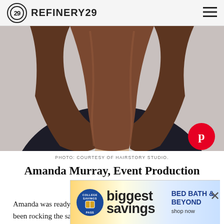REFINERY29
[Figure (photo): Woman with long brown hair wearing a dark blazer and light grey top, photo cropped at neck level]
PHOTO: COURTESY OF HAIRSTORY STUDIO.
Amanda Murray, Event Production Coordinator
Amanda was ready for a change for the simplest reason: “I’ve been rocking the same style for about four years. Time to shake it up a bit!” And, even though she loved her retro, “zero-maintenance, Jane Birkin all the way” ‘do, she felt like falling in love al
[Figure (other): Advertisement banner: College Savings Pass badge on left, 'biggest savings' text in center, 'BED BATH & BEYOND shop now' on right]